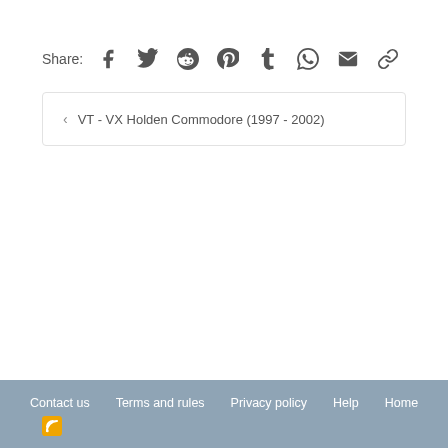Share: [Facebook] [Twitter] [Reddit] [Pinterest] [Tumblr] [WhatsApp] [Email] [Link]
< VT - VX Holden Commodore (1997 - 2002)
Contact us  Terms and rules  Privacy policy  Help  Home